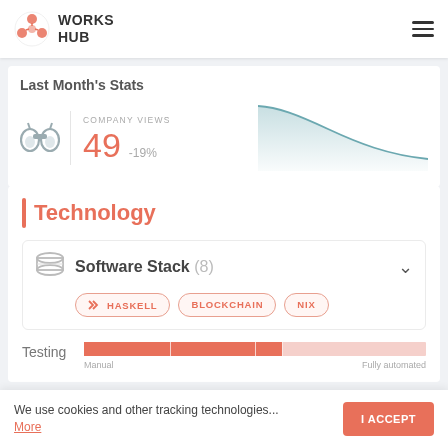WORKS HUB
Last Month's Stats
COMPANY VIEWS 49 -19%
[Figure (continuous-plot): Line chart showing company views trend declining from high on left to low flat on right]
Technology
Software Stack (8)
HASKELL
BLOCKCHAIN
NIX
Testing   Manual   Fully automated
We use cookies and other tracking technologies... More
I ACCEPT